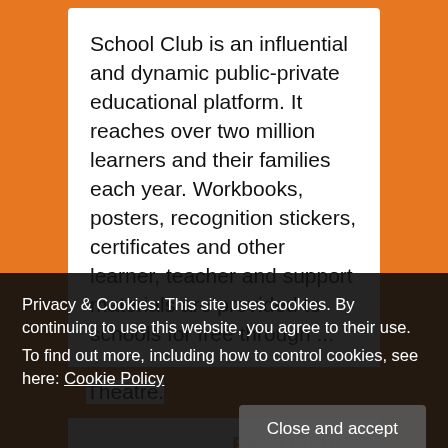School Club is an influential and dynamic public-private educational platform. It reaches over two million learners and their families each year. Workbooks, posters, recognition stickers, certificates and other learner, teacher and support materials are provided to schools for free through ...
Read more »
Theatre.
Privacy & Cookies: This site uses cookies. By continuing to use this website, you agree to their use.
To find out more, including how to control cookies, see here: Cookie Policy